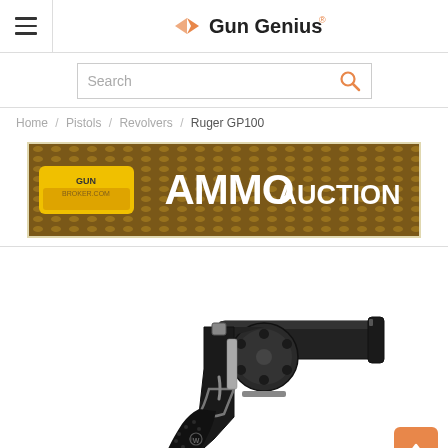Gun Genius
Search
Home / Pistols / Revolvers / Ruger GP100
[Figure (illustration): GunBroker.com AMMO AUCTION advertisement banner with bullet/ammo background image]
[Figure (photo): Ruger GP100 revolver with black rubber grip and short barrel, shown against white background]